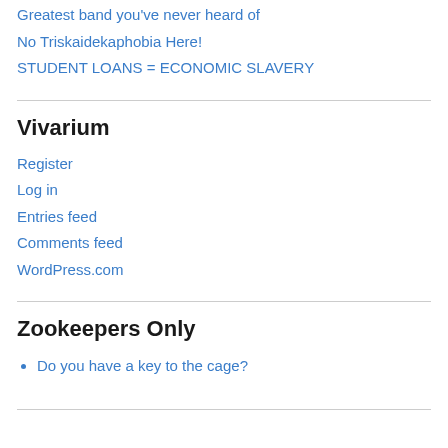Greatest band you've never heard of
No Triskaidekaphobia Here!
STUDENT LOANS = ECONOMIC SLAVERY
Vivarium
Register
Log in
Entries feed
Comments feed
WordPress.com
Zookeepers Only
Do you have a key to the cage?